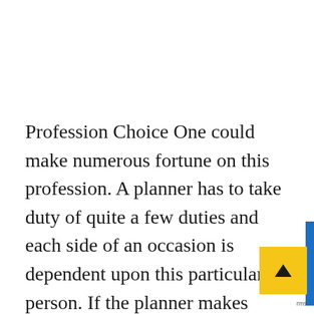Profession Choice One could make numerous fortune on this profession. A planner has to take duty of quite a few duties and each side of an occasion is dependent upon this particular person. If the planner makes even a small mistake, then bills can exceed the funds of the consumer and he shall be dissatisfied. Therefore, it's essential to take coaching a marriage planning course prior beginning a